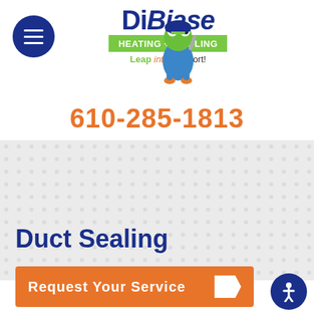[Figure (logo): DiBiase Heating + Cooling logo with frog mascot and tagline 'Leap into Comfort!']
610-285-1813
[Figure (infographic): Gray dotted background section]
Duct Sealing
Request Your Service